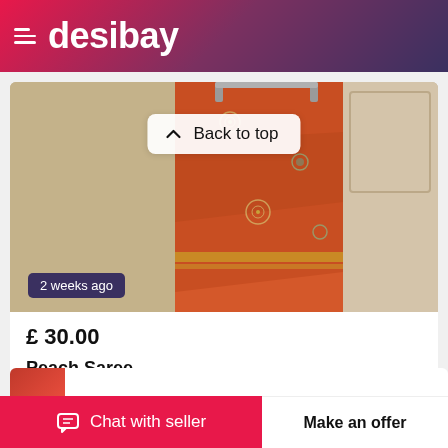desibay
[Figure (photo): Orange/peach saree with silver embroidery hanging on a white door, product listing photo for Desibay marketplace]
Back to top
2 weeks ago
£ 30.00
Peach Saree
Greenford,England
Chat with seller
Make an offer